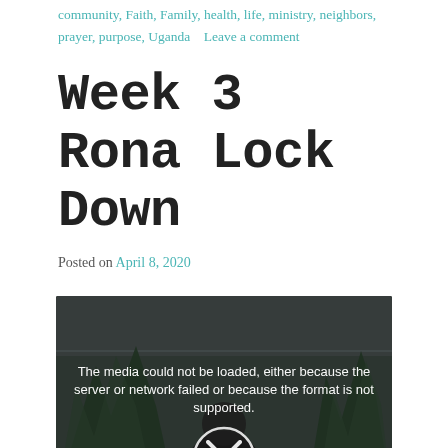community, Faith, Family, health, life, ministry, neighbors, prayer, purpose, Uganda    Leave a comment
Week 3 Rona Lock Down
Posted on April 8, 2020
[Figure (screenshot): Video player showing an error message: 'The media could not be loaded, either because the server or network failed or because the format is not supported.' with an X/close button overlay on a dark background showing trees and a person's silhouette.]